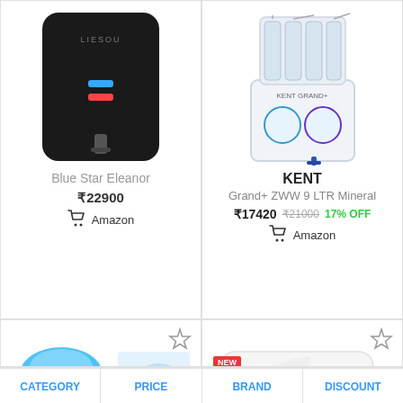[Figure (photo): Blue Star Eleanor water purifier - black rectangular device]
Blue Star Eleanor
₹22900
Amazon
[Figure (photo): KENT Grand+ ZWW 9 LTR Mineral water purifier - white device with filter tubes]
KENT
Grand+ ZWW 9 LTR Mineral
₹17420 ₹21000 17% OFF
Amazon
[Figure (photo): Water dispenser with blue cap and hands handling water bottle]
[Figure (photo): A.O. Smith water purifier - white device with NEW badge]
CATEGORY
PRICE
BRAND
DISCOUNT